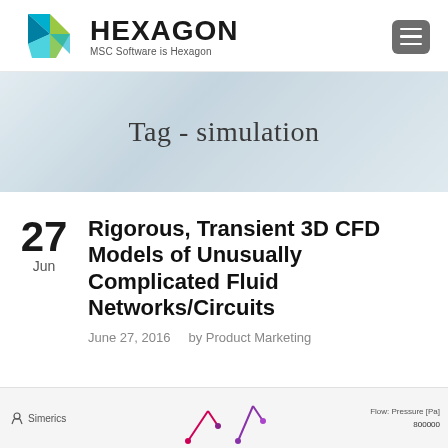[Figure (logo): Hexagon / MSC Software logo with colorful geometric arrow shapes and text 'HEXAGON MSC Software is Hexagon']
Tag - simulation
27
Jun
Rigorous, Transient 3D CFD Models of Unusually Complicated Fluid Networks/Circuits
June 27, 2016     by Product Marketing
[Figure (screenshot): Simerics CFD simulation screenshot showing fluid network/circuit visualization with pressure flow data legend]